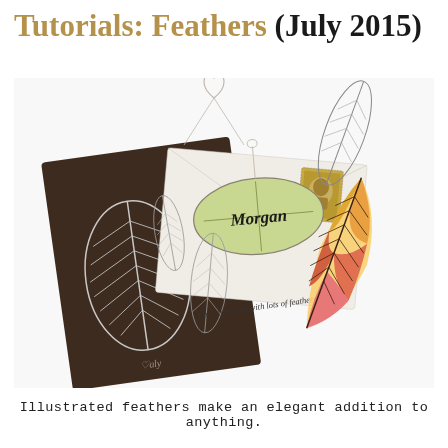Tutorials: Feathers (July 2015)
[Figure (photo): A flat lay photograph showing feather-themed illustrated crafts including a dark brown envelope with a white feather drawing and postage stamp, a gift tag with 'Morgan' written on it in a green watercolor feather shape, white cards with pencil-sketched feathers and handwritten text, and a colorful watercolor feather illustration in pink, orange, and yellow.]
Illustrated feathers make an elegant addition to anything.